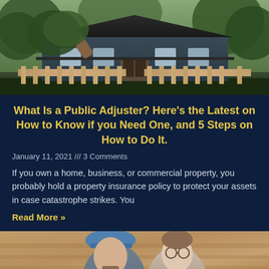[Figure (photo): Photograph of a house with storm damage — a large fallen tree leans against or near the structure. The house has a dark exterior, wooden fence, and is surrounded by trees.]
What Is a Public Adjuster? Here's the Latest on How to Know if you Need One, and 5 Steps on How to Do It.
January 11, 2021 /// 3 Comments
If you own a home, business, or commercial property, you probably hold a property insurance policy to protect your assets in case catastrophe strikes. You
Read More »
[Figure (photo): Photograph of two people — a bearded man wearing a blue hard hat and a woman wearing glasses — standing outdoors, possibly at a construction or insurance inspection site.]